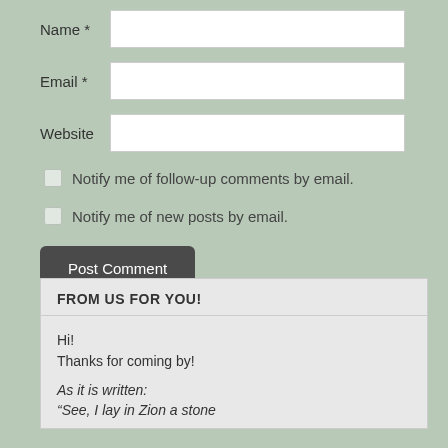Name *
Email *
Website
Notify me of follow-up comments by email.
Notify me of new posts by email.
Post Comment
FROM US FOR YOU!
Hi!
Thanks for coming by!
As it is written:
“See, I lay in Zion a stone